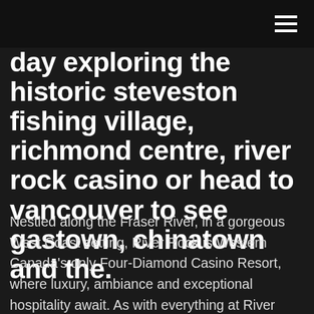[hamburger menu icon]
day exploring the historic steveston fishing village, richmond centre, river rock casino or head to vancouver to see gastown, chinatown and the.
Nestled along the Fraser River, in a gorgeous West Coast setting, River Rock is Western Canada's only Four-Diamond Casino Resort, where luxury, ambiance and exceptional hospitality await. As with everything at River Rock, when it comes to accommodations, the choice is yours. Jan 26, 2021 · An airplane flies over the River Rock Casino in Richmond, British Columbia, Canada December 5, 2017. REUTERS/Ben Nelms. Rod Baker has resigned after 10